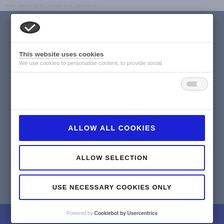[Figure (screenshot): Cookie consent modal dialog overlay on a webpage. Contains a Cookiebot logo, title 'This website uses cookies', description text, and three buttons: 'ALLOW ALL COOKIES' (blue filled), 'ALLOW SELECTION' (outlined), 'USE NECESSARY COOKIES ONLY' (outlined). Footer shows 'Powered by Cookiebot by Usercentrics'.]
This website uses cookies
We use cookies to personalise content, to provide social
ALLOW ALL COOKIES
ALLOW SELECTION
USE NECESSARY COOKIES ONLY
Powered by Cookiebot by Usercentrics
Progression Agreements